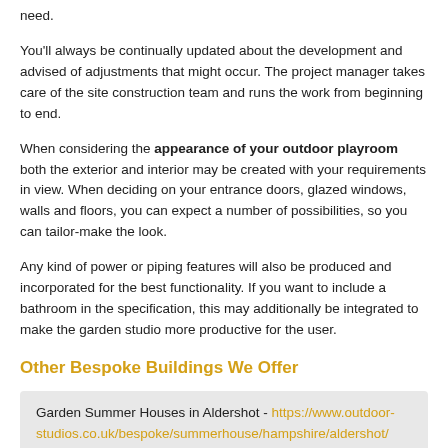need.
You'll always be continually updated about the development and advised of adjustments that might occur. The project manager takes care of the site construction team and runs the work from beginning to end.
When considering the appearance of your outdoor playroom both the exterior and interior may be created with your requirements in view. When deciding on your entrance doors, glazed windows, walls and floors, you can expect a number of possibilities, so you can tailor-make the look.
Any kind of power or piping features will also be produced and incorporated for the best functionality. If you want to include a bathroom in the specification, this may additionally be integrated to make the garden studio more productive for the user.
Other Bespoke Buildings We Offer
Garden Summer Houses in Aldershot - https://www.outdoor-studios.co.uk/bespoke/summerhouse/hampshire/aldershot/